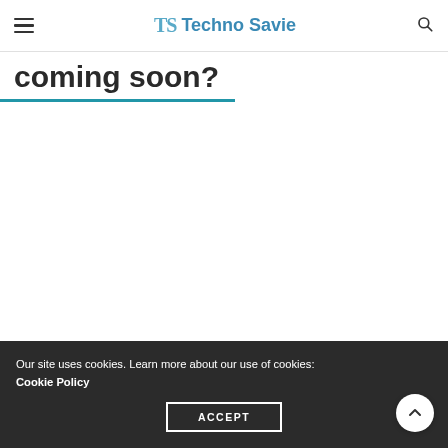TS Techno Savie
coming soon?
Our site uses cookies. Learn more about our use of cookies: Cookie Policy
ACCEPT